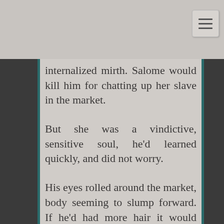internalized mirth. Salome would kill him for chatting up her slave in the market.
But she was a vindictive, sensitive soul, he'd learned quickly, and did not worry.
His eyes rolled around the market, body seeming to slump forward. If he'd had more hair it would have fallen into his face as he looked about. No one seemed overly concerned about them. But aware. He wondered if people knew and talked about his late night gossip sessions with the lady Nazaire. Or was it that the prince's slave was now conversing